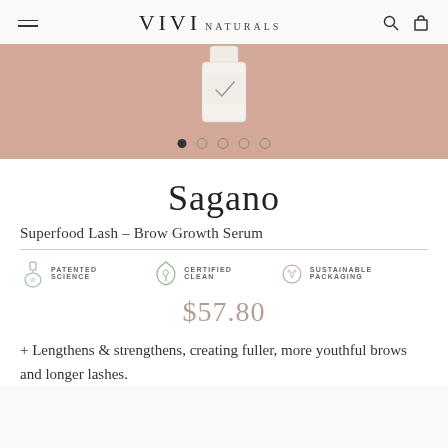VIVI NATURALS
[Figure (photo): Product bottle (Sagano serum) partially visible against a dusty rose/pink background, with carousel navigation dots below]
Sagano
Superfood Lash – Brow Growth Serum
[Figure (infographic): Three product badges: PATENTED SCIENCE (potion bottle icon), CERTIFIED CLEAN (leaf icon), SUSTAINABLE PACKAGING (recycling icon)]
$57.80
+ Lengthens & strengthens, creating fuller, more youthful brows and longer lashes.